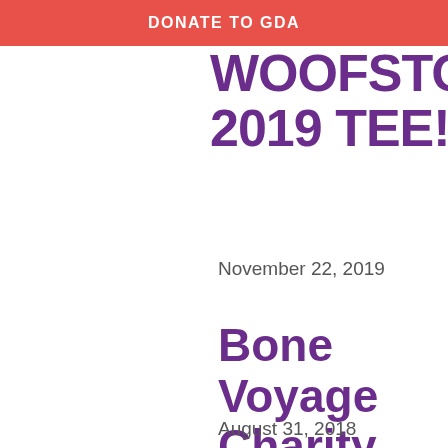DONATE TO GDA
WOOFSTOCK 2019 TEE!
November 22, 2019
Bone Voyage Charity Banquet!
August 31, 2018